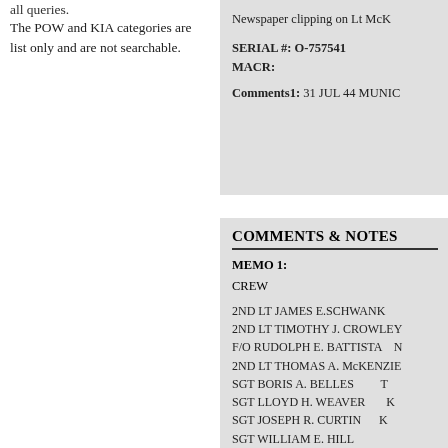The POW and KIA categories are list only and are not searchable.
Newspaper clipping on Lt McK
SERIAL #: O-757541
MACR:
Comments1: 31 JUL 44 MUNIC
COMMENTS & NOTES
MEMO 1:
CREW
2ND LT JAMES E.SCHWANK
2ND LT TIMOTHY J. CROWLEY
F/O RUDOLPH E. BATTISTA    N
2ND LT THOMAS A. McKENZIE
SGT BORIS A. BELLES        T
SGT LLOYD H. WEAVER        K
SGT JOSEPH R. CURTIN       K
SGT WILLIAM E. HILL
SGT CHARLES C. SEGREST, JR
SGT ROBERT H. WALSH